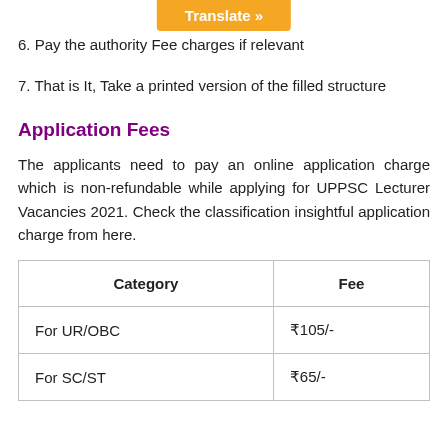[Figure (other): Orange 'Translate »' button overlay at top center]
6. Pay the authority Fee charges if relevant
7. That is It, Take a printed version of the filled structure
Application Fees
The applicants need to pay an online application charge which is non-refundable while applying for UPPSC Lecturer Vacancies 2021. Check the classification insightful application charge from here.
| Category | Fee |
| --- | --- |
| For UR/OBC | ₹105/- |
| For SC/ST | ₹65/- |